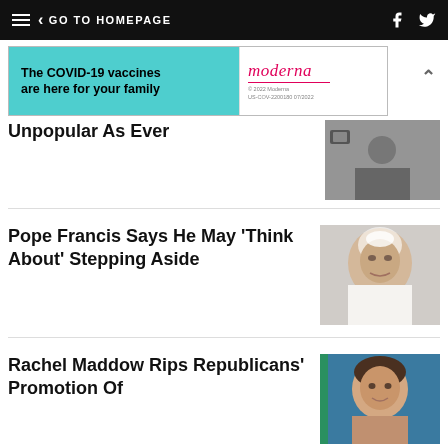GO TO HOMEPAGE
[Figure (other): Moderna COVID-19 vaccine advertisement banner: teal left panel reading 'The COVID-19 vaccines are here for your family', white right panel with Moderna logo and fine print.]
Unpopular As Ever
[Figure (photo): Person with camera, news/press photographer scene]
Pope Francis Says He May 'Think About' Stepping Aside
[Figure (photo): Close-up photo of Pope Francis looking upward]
Rachel Maddow Rips Republicans' Promotion Of
[Figure (photo): Photo of Rachel Maddow]